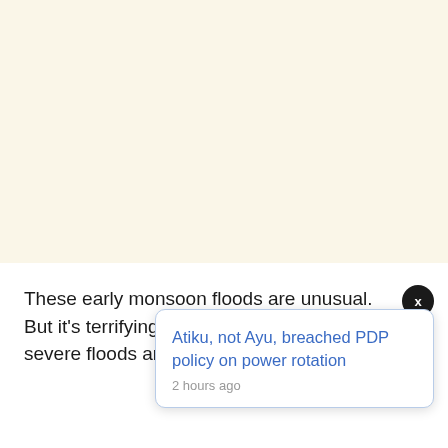These early monsoon floods are unusual. But it's terrifying that record-breaking severe floods and cyclones are often.
Atiku, not Ayu, breached PDP policy on power rotation
2 hours ago